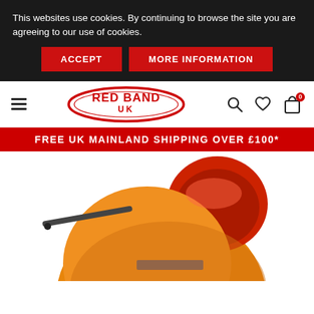This websites use cookies. By continuing to browse the site you are agreeing to our use of cookies.
ACCEPT
MORE INFORMATION
[Figure (logo): Red Band UK logo — red oval with white text 'RED BAND UK' inside]
FREE UK MAINLAND SHIPPING OVER £100*
[Figure (photo): Orange cement mixer drum with red opening, tilted to show interior, photographed from above-left angle]